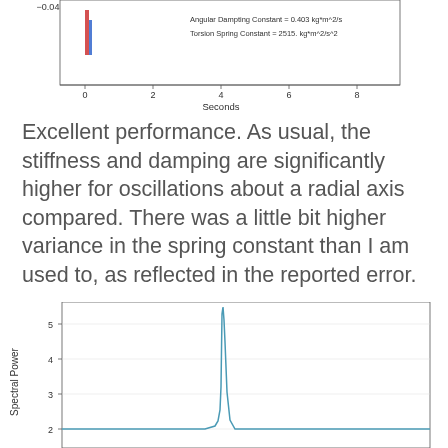[Figure (continuous-plot): Top portion of a time-series chart showing oscillation data. Y-axis label partially visible at top showing -0.04. Red and blue vertical bar marks near x=0. Legend shows: Angular Damping Constant = 0.403 kg*m^2/s, Torsion Spring Constant = 2515. kg*m^2/s^2. X-axis labeled 'Seconds' with ticks at 0,2,4,6,8.]
Excellent performance.  As usual, the stiffness and damping are significantly higher for oscillations about a radial axis compared.  There was a little bit higher variance in the spring constant than I am used to, as reflected in the reported error.
[Figure (continuous-plot): Spectral Power plot (bottom portion visible). Y-axis labeled 'Spectral Power' with ticks at 2, 3, 4, 5. A sharp narrow peak rises to about 5.3 near the center-left of the chart. The line is blue/teal colored.]